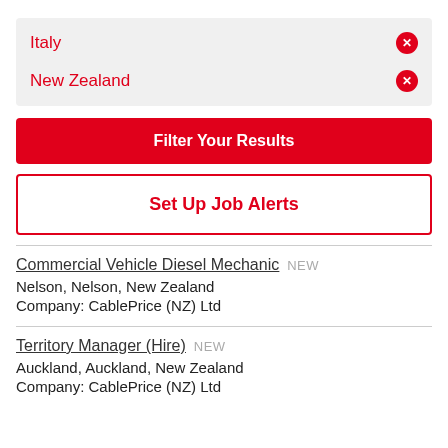Italy
New Zealand
Filter Your Results
Set Up Job Alerts
Commercial Vehicle Diesel Mechanic NEW
Nelson, Nelson, New Zealand
Company: CablePrice (NZ) Ltd
Territory Manager (Hire) NEW
Auckland, Auckland, New Zealand
Company: CablePrice (NZ) Ltd